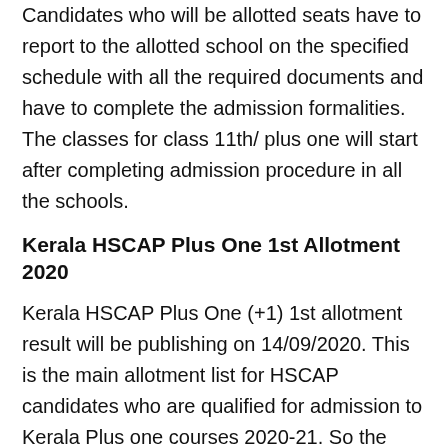Candidates who will be allotted seats have to report to the allotted school on the specified schedule with all the required documents and have to complete the admission formalities. The classes for class 11th/ plus one will start after completing admission procedure in all the schools.
Kerala HSCAP Plus One 1st Allotment 2020
Kerala HSCAP Plus One (+1) 1st allotment result will be publishing on 14/09/2020. This is the main allotment list for HSCAP candidates who are qualified for admission to Kerala Plus one courses 2020-21. So the candidates should surely check the first allotment result on HSCAP webisite hscap.kerala.gov.in by using the application number and date of birth.
Similar Titles :
HSCAP Plus One Trial Allotment 2020